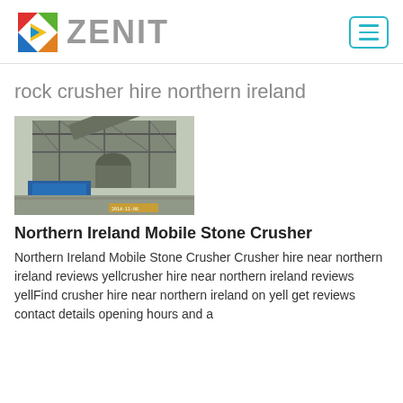[Figure (logo): Zenit company logo with colorful triangular icon and gray ZENIT text, plus hamburger menu button top right]
rock crusher hire northern ireland
[Figure (photo): Industrial stone crusher machinery at a quarry or construction site, with metal framework, conveyors, and a blue structure at the base.]
Northern Ireland Mobile Stone Crusher
Northern Ireland Mobile Stone Crusher Crusher hire near northern ireland reviews yellcrusher hire near northern ireland reviews yellFind crusher hire near northern ireland on yell get reviews contact details opening hours and a